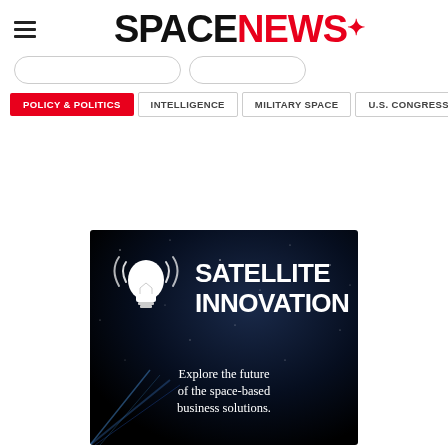SPACENEWS
POLICY & POLITICS | INTELLIGENCE | MILITARY SPACE | U.S. CONGRESS
[Figure (illustration): Advertisement banner with black starfield background, white light bulb icon with signal waves, large white text reading SATELLITE INNOVATION, and subtitle text: Explore the future of the space-based business solutions.]